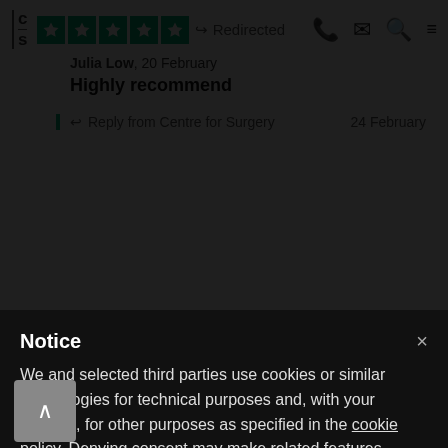[Figure (screenshot): Trustpilot 5-star rating with green stars and Redirected label, plus navigation icons (phone, mail, search, menu)]
Julia Low, 20 February
Highly recommend
Reply from Centre for Surgery    24 February
Notice
We and selected third parties use cookies or similar technologies for technical purposes and, with your consent, for other purposes as specified in the cookie policy. Denying consent may make related features unavailable. You can consent to the use of such technologies by using the “Accept” button or by closing this notice.
Accept
Learn more and customise